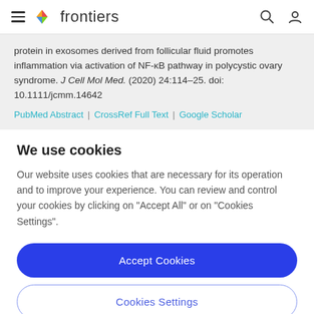frontiers
protein in exosomes derived from follicular fluid promotes inflammation via activation of NF-κB pathway in polycystic ovary syndrome. J Cell Mol Med. (2020) 24:114–25. doi: 10.1111/jcmm.14642
PubMed Abstract | CrossRef Full Text | Google Scholar
We use cookies
Our website uses cookies that are necessary for its operation and to improve your experience. You can review and control your cookies by clicking on "Accept All" or on "Cookies Settings".
Accept Cookies
Cookies Settings